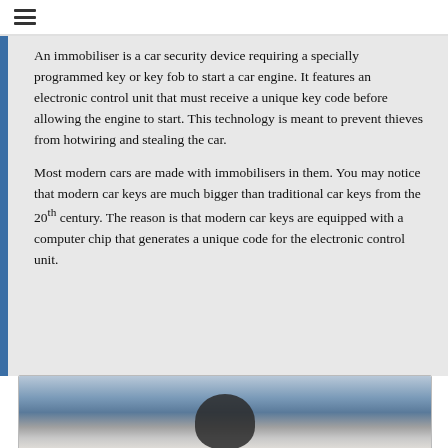≡
An immobiliser is a car security device requiring a specially programmed key or key fob to start a car engine. It features an electronic control unit that must receive a unique key code before allowing the engine to start. This technology is meant to prevent thieves from hotwiring and stealing the car.
Most modern cars are made with immobilisers in them. You may notice that modern car keys are much bigger than traditional car keys from the 20th century. The reason is that modern car keys are equipped with a computer chip that generates a unique code for the electronic control unit.
[Figure (photo): Photo of car keys on a keyring, shown partially at bottom of page]